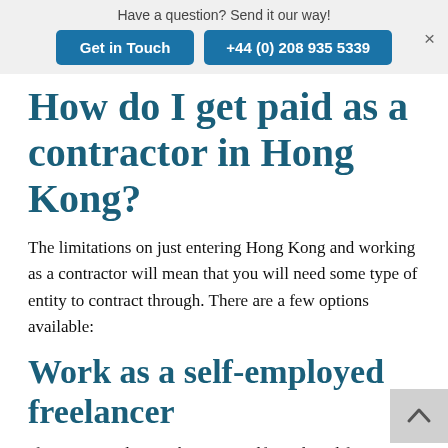Have a question? Send it our way!
Get in Touch   +44 (0) 208 935 5339
How do I get paid as a contractor in Hong Kong?
The limitations on just entering Hong Kong and working as a contractor will mean that you will need some type of entity to contract through.  There are a few options available:
Work as a self-employed freelancer
If you are used to working as a self-employed for one or more clients, this won't be easy in Hong Kong.  The most likely way to get hired is as an employee of your client, and that won't allow you to work for the one company.